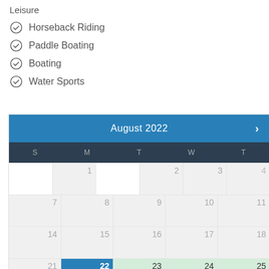Leisure
Horseback Riding
Paddle Boating
Boating
Water Sports
| S | M | T | W | T |
| --- | --- | --- | --- | --- |
|  | 1 | 2 | 3 | 4 |
| 7 | 8 | 9 | 10 | 11 |
| 14 | 15 | 16 | 17 | 18 |
| 21 | 22 $130.62 | 23 $130.62 | 24 $130.62 | 25 $153.67 |